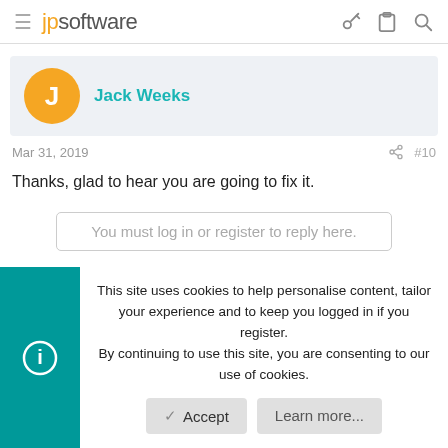jpsoftware
Jack Weeks
Mar 31, 2019  #10
Thanks, glad to hear you are going to fix it.
You must log in or register to reply here.
This site uses cookies to help personalise content, tailor your experience and to keep you logged in if you register.
By continuing to use this site, you are consenting to our use of cookies.